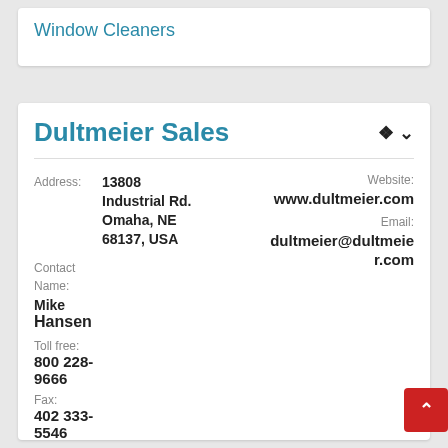Window Cleaners
Dultmeier Sales
Address: 13808 Industrial Rd. Omaha, NE 68137, USA
Website: www.dultmeier.com
Email: dultmeier@dultmeier.com
Contact Name: Mike Hansen
Toll free: 800 228-9666
Fax: 402 333-5546
Listed in: